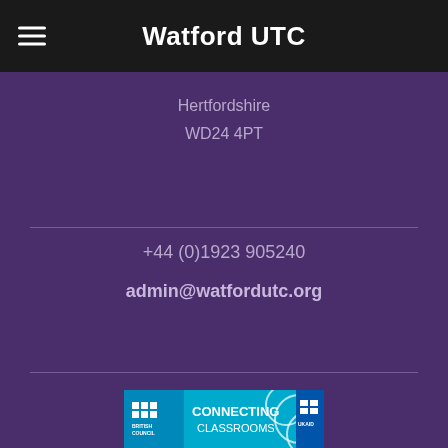Watford UTC
Hertfordshire
WD24 4PT
+44 (0)1923 905240
admin@watfordutc.org
[Figure (logo): British Council Connecting Classrooms with UKAID logo banner on cyan/blue background]